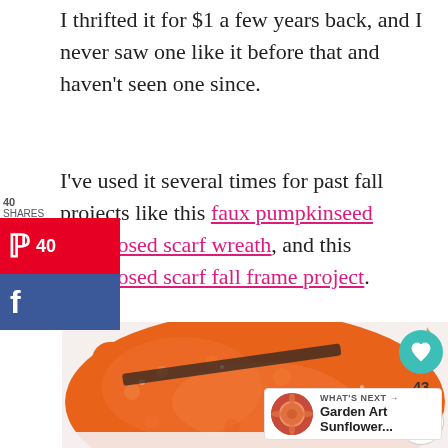I thrifted it for $1 a few years back, and I never saw one like it before that and haven't seen one since.
I've used it several times for past fall projects like this faux pumpkinseed repurposed scarf wreath, and this repurposed scarf fall frame project.
[Figure (photo): Orange fluffy textured fabric/scarf on a white surface with dark brush or tool visible underneath, with social sharing UI overlay including Pinterest and Facebook buttons on left, heart/share buttons on right, and a 'What's Next - Garden Art Sunflower...' widget in bottom right.]